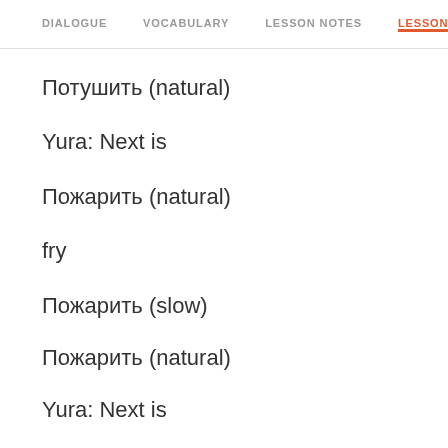DIALOGUE  VOCABULARY  LESSON NOTES  LESSON TRANSCRIPT
Потушить (natural)
Yura: Next is
Пожарить (natural)
fry
Пожарить (slow)
Пожарить (natural)
Yura: Next is
Нарезать (natural)
slice